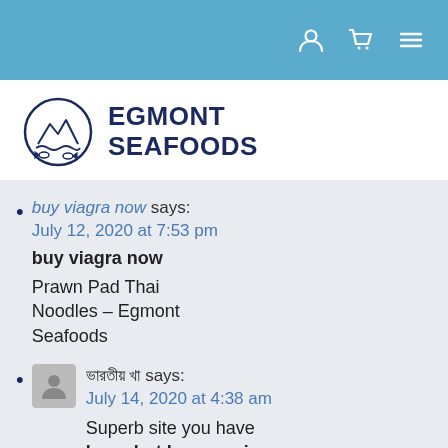Navigation bar with user, cart, and menu icons
[Figure (logo): Egmont Seafoods logo: circular emblem with fish and waves, next to bold text EGMONT SEAFOODS]
buy viagra now says: July 12, 2020 at 7:53 pm
buy viagra now
Prawn Pad Thai Noodles – Egmont Seafoods
ভারতীয় খা says: July 14, 2020 at 4:38 am
Superb site you have here, but I was curious...